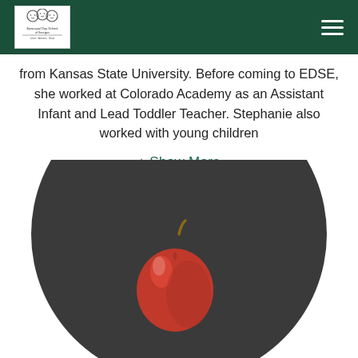Episcopal Day School of Georgios [logo and navigation]
from Kansas State University. Before coming to EDSE, she worked at Colorado Academy as an Assistant Infant and Lead Toddler Teacher. Stephanie also worked with young children
+ Show More
[Figure (photo): A red apple sitting on a dark circular background (chalkboard-style), photographed from above at a slight angle. The apple has a stem visible at the top.]